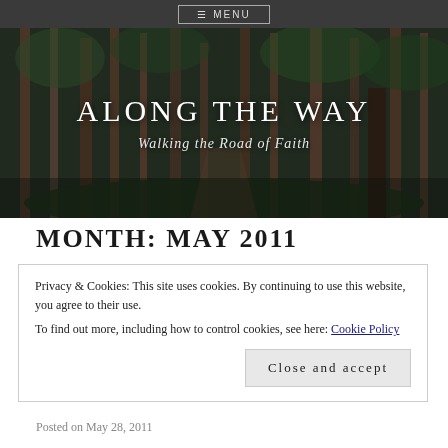MENU
[Figure (photo): Forest path with tall pine trees, dark moody lighting, path visible in the distance]
ALONG THE WAY
Walking the Road of Faith
MONTH: MAY 2011
Privacy & Cookies: This site uses cookies. By continuing to use this website, you agree to their use.
To find out more, including how to control cookies, see here: Cookie Policy
Close and accept
Posted on May 28, 2011